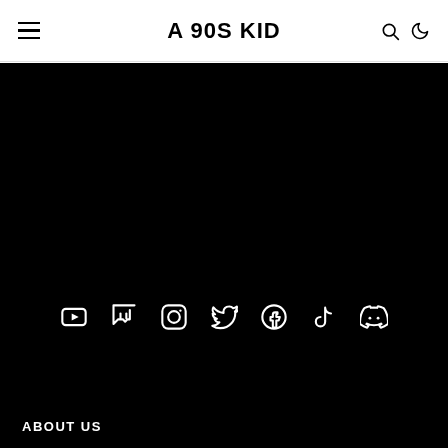A 90S KID
[Figure (screenshot): Black background section with social media icons: YouTube, Twitch, Instagram, Twitter, Facebook, TikTok, Discord]
ABOUT US